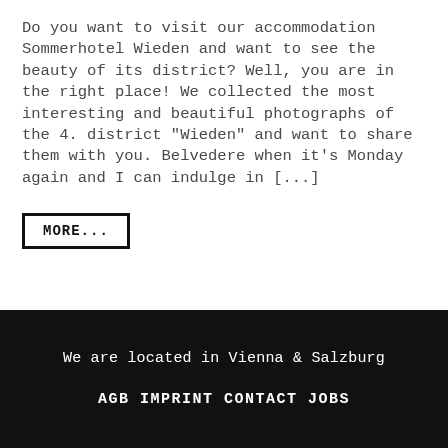Do you want to visit our accommodation Sommerhotel Wieden and want to see the beauty of its district? Well, you are in the right place! We collected the most interesting and beautiful photographs of the 4. district "Wieden" and want to share them with you. Belvedere when it's Monday again and I can indulge in [...]
MORE...
We are located in Vienna & Salzburg
AGB IMPRINT CONTACT JOBS